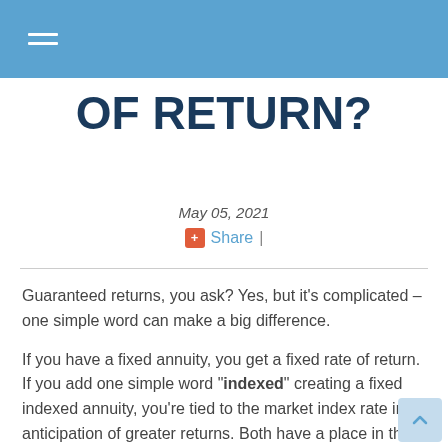☰ (navigation menu icon)
OF RETURN?
May 05, 2021
+ Share |
Guaranteed returns, you ask? Yes, but it's complicated – one simple word can make a big difference.
If you have a fixed annuity, you get a fixed rate of return. If you add one simple word "indexed" creating a fixed indexed annuity, you're tied to the market index rate in anticipation of greater returns. Both have a place in the market, and understanding their differences will help determine which one is best for your retirement savings strategy.